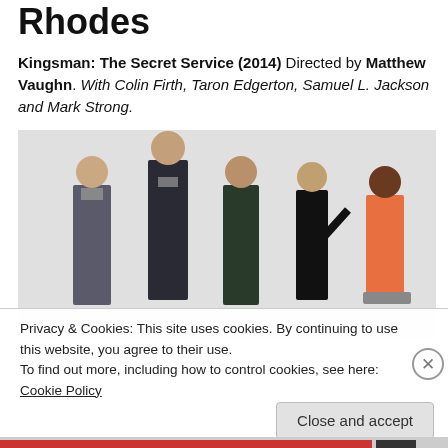Rhodes
Kingsman: The Secret Service (2014) Directed by Matthew Vaughn. With Colin Firth, Taron Edgerton, Samuel L. Jackson and Mark Strong.
[Figure (photo): Promotional photo of the cast of Kingsman: The Secret Service, showing five characters in various poses against a white background.]
Privacy & Cookies: This site uses cookies. By continuing to use this website, you agree to their use.
To find out more, including how to control cookies, see here: Cookie Policy
Close and accept